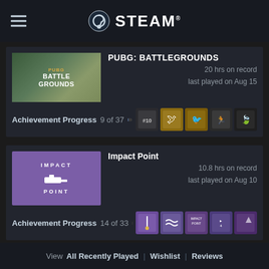STEAM
PUBG: BATTLEGROUNDS
20 hrs on record
last played on Aug 15
Achievement Progress  9 of 37
Impact Point
10.8 hrs on record
last played on Aug 10
Achievement Progress  14 of 33
View  All Recently Played | Wishlist | Reviews